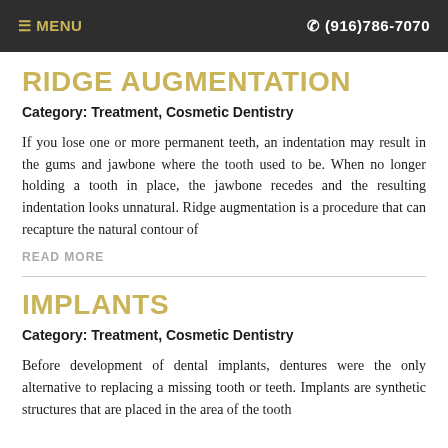≡ MENU   ✆ (916)786-7070
RIDGE AUGMENTATION
Category: Treatment, Cosmetic Dentistry
If you lose one or more permanent teeth, an indentation may result in the gums and jawbone where the tooth used to be. When no longer holding a tooth in place, the jawbone recedes and the resulting indentation looks unnatural. Ridge augmentation is a procedure that can recapture the natural contour of
READ MORE
IMPLANTS
Category: Treatment, Cosmetic Dentistry
Before development of dental implants, dentures were the only alternative to replacing a missing tooth or teeth. Implants are synthetic structures that are placed in the area of the tooth normally occupied by the root, but to some and into the